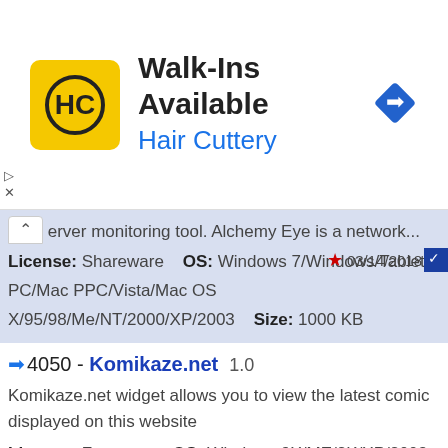[Figure (infographic): Hair Cuttery advertisement banner with yellow HC logo, 'Walk-Ins Available' title, 'Hair Cuttery' subtitle in blue, and blue diamond arrow icon]
server monitoring tool. Alchemy Eye is a network...
License: Shareware   OS: Windows 7/Windows/Tablet PC/Mac PPC/Vista/Mac OS X/95/98/Me/NT/2000/XP/2003   Size: 1000 KB
4050 - Komikaze.net  1.0
Komikaze.net widget allows you to view the latest comic displayed on this website
License: Freeware   OS: Windows 9X/ME/2K/XP/2003   Size: 9.53 KB